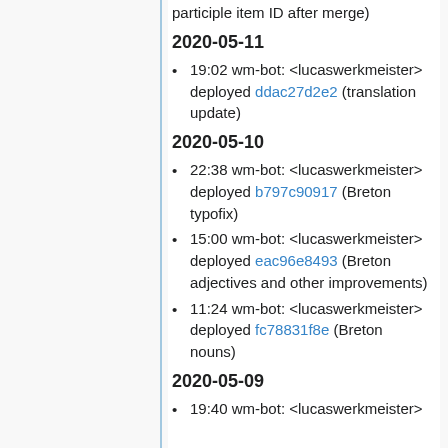participle item ID after merge)
2020-05-11
19:02 wm-bot: <lucaswerkmeister> deployed ddac27d2e2 (translation update)
2020-05-10
22:38 wm-bot: <lucaswerkmeister> deployed b797c90917 (Breton typofix)
15:00 wm-bot: <lucaswerkmeister> deployed eac96e8493 (Breton adjectives and other improvements)
11:24 wm-bot: <lucaswerkmeister> deployed fc78831f8e (Breton nouns)
2020-05-09
19:40 wm-bot: <lucaswerkmeister>